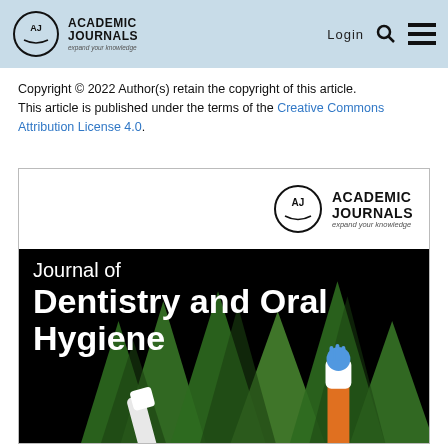Academic Journals - Login
Copyright © 2022 Author(s) retain the copyright of this article.
This article is published under the terms of the Creative Commons Attribution License 4.0.
[Figure (illustration): Journal of Dentistry and Oral Hygiene cover image showing the journal title in white text on a black background with green leaves and toothbrushes, and the Academic Journals logo in the top right corner.]